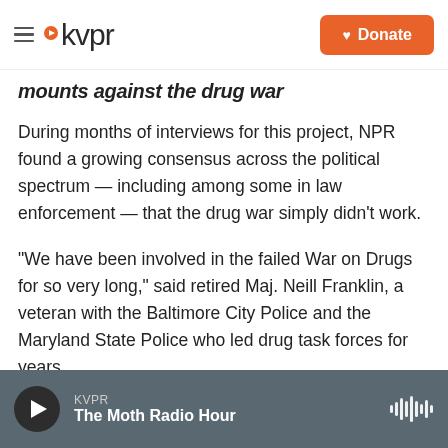KVPR — Donate
mounts against the drug war
During months of interviews for this project, NPR found a growing consensus across the political spectrum — including among some in law enforcement — that the drug war simply didn't work.
"We have been involved in the failed War on Drugs for so very long," said retired Maj. Neill Franklin, a veteran with the Baltimore City Police and the Maryland State Police who led drug task forces for years.
KVPR — The Moth Radio Hour